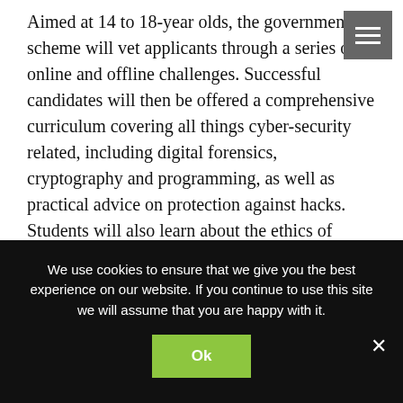Aimed at 14 to 18-year olds, the government scheme will vet applicants through a series of online and offline challenges. Successful candidates will then be offered a comprehensive curriculum covering all things cyber-security related, including digital forensics, cryptography and programming, as well as practical advice on protection against hacks. Students will also learn about the ethics of hacking.
To fully equip participants in both the theory and practice of cyber security, the course will be delivered via a mix of online challenges, face-to-face learning, role-playing and
We use cookies to ensure that we give you the best experience on our website. If you continue to use this site we will assume that you are happy with it.